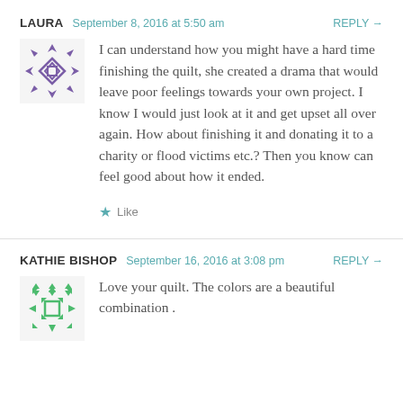LAURA  September 8, 2016 at 5:50 am  REPLY →
[Figure (illustration): Purple geometric quilt-pattern avatar icon for user Laura]
I can understand how you might have a hard time finishing the quilt, she created a drama that would leave poor feelings towards your own project. I know I would just look at it and get upset all over again. How about finishing it and donating it to a charity or flood victims etc.? Then you know can feel good about how it ended.
★ Like
KATHIE BISHOP  September 16, 2016 at 3:08 pm  REPLY →
[Figure (illustration): Green geometric quilt-pattern avatar icon for user Kathie Bishop]
Love your quilt. The colors are a beautiful combination .